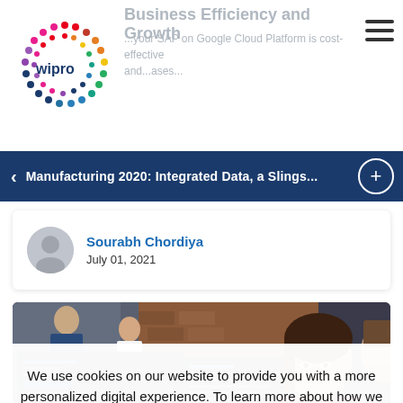[Figure (logo): Wipro logo with colorful dot pattern circle and 'wipro' text]
Business Efficiency and Growth
...your SAP on Google Cloud Platform is cost-effective and...ases...
Manufacturing 2020: Integrated Data, a Slings...
Sourabh Chordiya
July 01, 2021
[Figure (photo): Two people looking at computer monitors showing code in an office environment]
We use cookies on our website to provide you with a more personalized digital experience. To learn more about how we